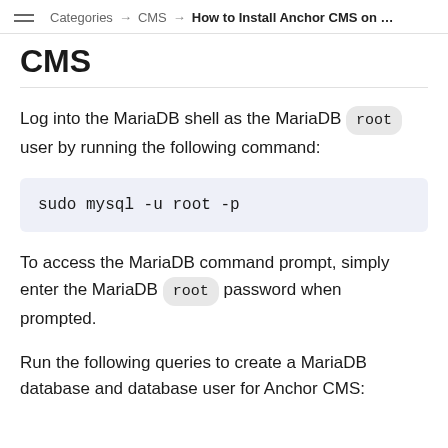Categories → CMS → How to Install Anchor CMS on …
CMS
Log into the MariaDB shell as the MariaDB root user by running the following command:
sudo mysql -u root -p
To access the MariaDB command prompt, simply enter the MariaDB root password when prompted.
Run the following queries to create a MariaDB database and database user for Anchor CMS: